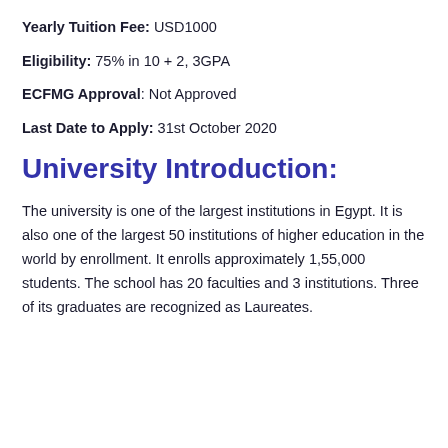Yearly Tuition Fee: USD1000
Eligibility: 75% in 10 + 2, 3GPA
ECFMG Approval: Not Approved
Last Date to Apply: 31st October 2020
University Introduction:
The university is one of the largest institutions in Egypt. It is also one of the largest 50 institutions of higher education in the world by enrollment. It enrolls approximately 1,55,000 students. The school has 20 faculties and 3 institutions. Three of its graduates are recognized as Laureates.